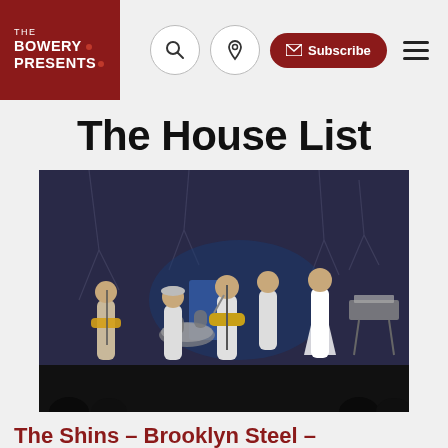[Figure (logo): The Bowery Presents logo — white text on dark red square background with decorative dots]
[Figure (infographic): Navigation bar with search icon, location pin icon, Subscribe button, and hamburger menu]
The House List
[Figure (photo): Concert photo of The Shins performing on stage at Brooklyn Steel. Band members dressed in white, playing instruments including guitars and drums, with decorative tree branch backdrop and blue stage lighting.]
The Shins – Brooklyn Steel –